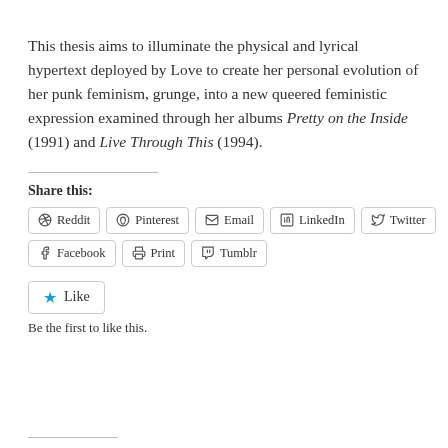This thesis aims to illuminate the physical and lyrical hypertext deployed by Love to create her personal evolution of her punk feminism, grunge, into a new queered feministic expression examined through her albums Pretty on the Inside (1991) and Live Through This (1994).
Share this:
Reddit | Pinterest | Email | LinkedIn | Twitter | Facebook | Print | Tumblr
Like
Be the first to like this.